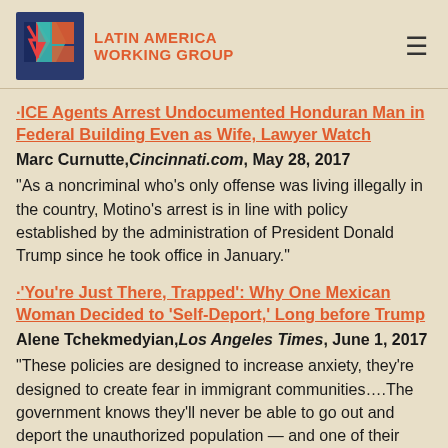Latin America Working Group
•ICE Agents Arrest Undocumented Honduran Man in Federal Building Even as Wife, Lawyer Watch
Marc Curnutte, Cincinnati.com, May 28, 2017
"As a noncriminal who's only offense was living illegally in the country, Motino's arrest is in line with policy established by the administration of President Donald Trump since he took office in January."
•'You're Just There, Trapped': Why One Mexican Woman Decided to 'Self-Deport,' Long before Trump
Alene Tchekmedyian, Los Angeles Times, June 1, 2017
"These policies are designed to increase anxiety, they're designed to create fear in immigrant communities....The government knows they'll never be able to go out and deport the unauthorized population — and one of their